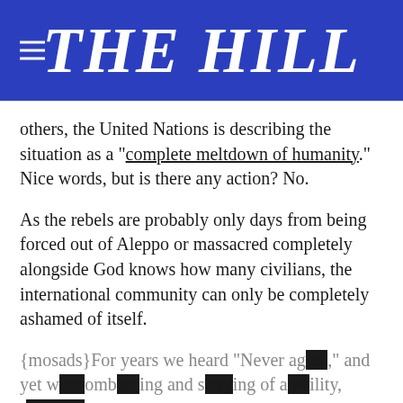THE HILL
others, the United Nations is describing the situation as a “complete meltdown of humanity.” Nice words, but is there any action? No.
As the rebels are probably only days from being forced out of Aleppo or massacred completely alongside God knows how many civilians, the international community can only be completely ashamed of itself.
{mosads}For years we heard “Never ag…,” and yet w… bomb…ing and s…ing of a…inity, r……ing
[Figure (screenshot): SHE CAN STEM advertisement overlay banner in dark background with close X button]